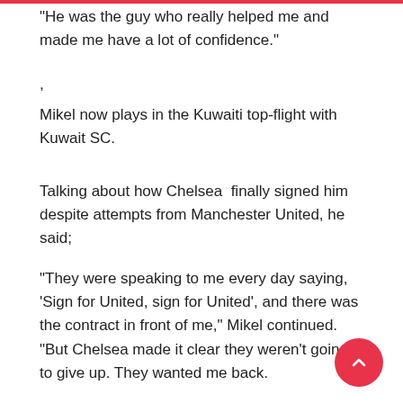"He was the guy who really helped me and made me have a lot of confidence."
,
Mikel now plays in the Kuwaiti top-flight with Kuwait SC.
Talking about how Chelsea  finally signed him despite attempts from Manchester United, he said;
"They were speaking to me every day saying, 'Sign for United, sign for United', and there was the contract in front of me," Mikel continued. "But Chelsea made it clear they weren't going to give up. They wanted me back.
"I had been sent by Chelsea to play there because I was not 18. I was from Africa and needed to play a certain